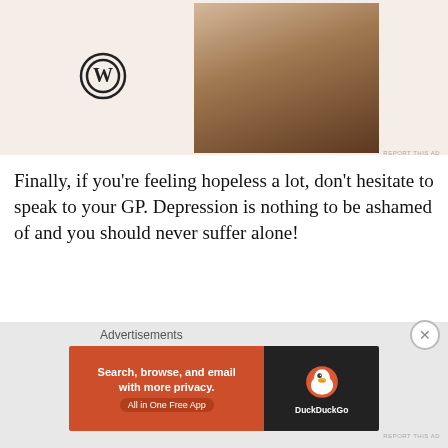[Figure (photo): WordPress advertisement banner showing a laptop with hands and WordPress logo on beige background]
REPORT THIS AD
Finally, if you're feeling hopeless a lot, don't hesitate to speak to your GP. Depression is nothing to be ashamed of and you should never suffer alone!
SHOW SOME LOVE, SHARE THIS:
[Figure (infographic): Row of social sharing icons: email, print, Facebook, LinkedIn, Tumblr, Pinterest, Twitter, Reddit, Pocket]
[Figure (other): Like button with star icon and text 'Like']
Be the first to like this.
[Figure (other): DuckDuckGo advertisement banner: 'Search, browse, and email with more privacy. All in One Free App' with DuckDuckGo logo]
Advertisements
REPORT THIS AD